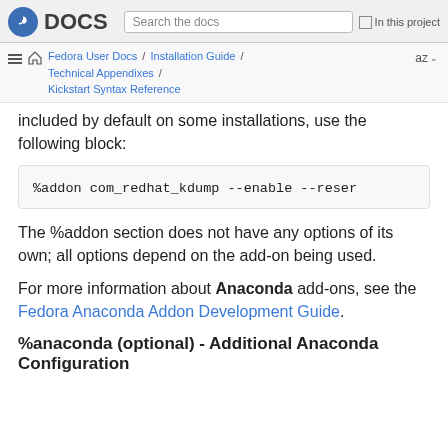Fedora DOCS | Search the docs | In this project
Fedora User Docs / Installation Guide / Technical Appendixes / Kickstart Syntax Reference | az
included by default on some installations, use the following block:
%addon com_redhat_kdump --enable --reser
The %addon section does not have any options of its own; all options depend on the add-on being used.
For more information about Anaconda add-ons, see the Fedora Anaconda Addon Development Guide.
%anaconda (optional) - Additional Anaconda Configuration